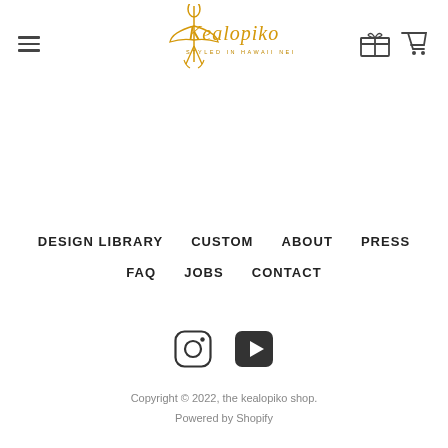[Figure (logo): Kealopiko logo — stylized figure with script text 'Kealopiko' and tagline 'STYLED IN HAWAII NEI' in gold/amber color]
Navigation header with hamburger menu, Kealopiko logo, gift card icon, and shopping cart icon
DESIGN LIBRARY
CUSTOM
ABOUT
PRESS
FAQ
JOBS
CONTACT
[Figure (other): Instagram icon (circle with camera outline) and YouTube/Play icon (dark rounded square with triangle play button)]
Copyright © 2022, the kealopiko shop.
Powered by Shopify